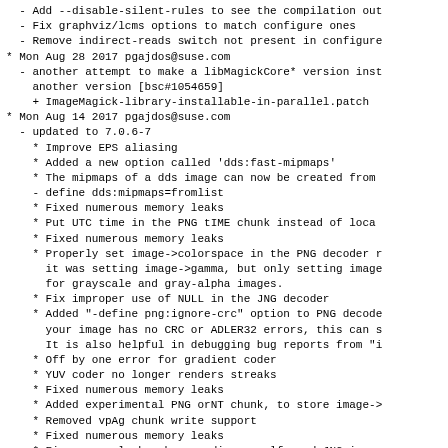- Add --disable-silent-rules to see the compilation out
- Fix graphviz/lcms options to match configure ones
- Remove indirect-reads switch not present in configure
* Mon Aug 28 2017 pgajdos@suse.com
- another attempt to make a libMagickCore* version inst
    another version [bsc#1054659]
+ ImageMagick-library-installable-in-parallel.patch
* Mon Aug 14 2017 pgajdos@suse.com
- updated to 7.0.6-7
* Improve EPS aliasing
* Added a new option called 'dds:fast-mipmaps'
* The mipmaps of a dds image can now be created from
- define dds:mipmaps=fromlist
* Fixed numerous memory leaks
* Put UTC time in the PNG tIME chunk instead of loca
* Fixed numerous memory leaks
* Properly set image->colorspace in the PNG decoder r
      it was setting image->gamma, but only setting image
      for grayscale and gray-alpha images.
* Fix improper use of NULL in the JNG decoder
* Added "-define png:ignore-crc" option to PNG decode
      your image has no CRC or ADLER32 errors, this can s
      It is also helpful in debugging bug reports from "i
* Off by one error for gradient coder
* YUV coder no longer renders streaks
* Fixed numerous memory leaks
* Added experimental PNG orNT chunk, to store image->
* Removed vpAg chunk write support
* Fixed numerous memory leaks
* Fix memory leaks when reading a malformed JNG image